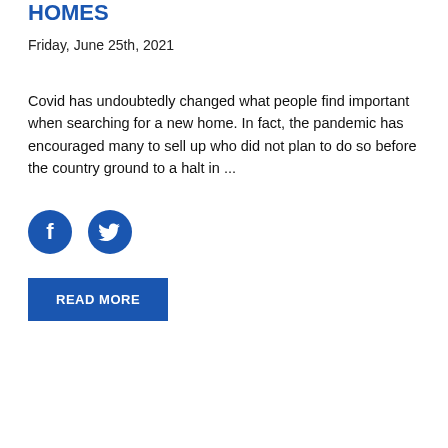HOMES
Friday, June 25th, 2021
Covid has undoubtedly changed what people find important when searching for a new home. In fact, the pandemic has encouraged many to sell up who did not plan to do so before the country ground to a halt in ...
[Figure (illustration): Facebook and Twitter social media icon buttons (blue circles with white f and bird logos)]
READ MORE